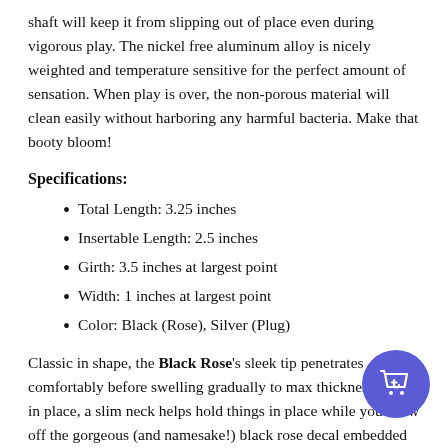shaft will keep it from slipping out of place even during vigorous play. The nickel free aluminum alloy is nicely weighted and temperature sensitive for the perfect amount of sensation. When play is over, the non-porous material will clean easily without harboring any harmful bacteria. Make that booty bloom!
Specifications:
Total Length: 3.25 inches
Insertable Length: 2.5 inches
Girth: 3.5 inches at largest point
Width: 1 inches at largest point
Color: Black (Rose), Silver (Plug)
Classic in shape, the Black Rose's sleek tip penetrates comfortably before swelling gradually to max thickness. Once in place, a slim neck helps hold things in place while you show off the gorgeous (and namesake!) black rose decal embedded in the base. Speaking of the base, it's nice and